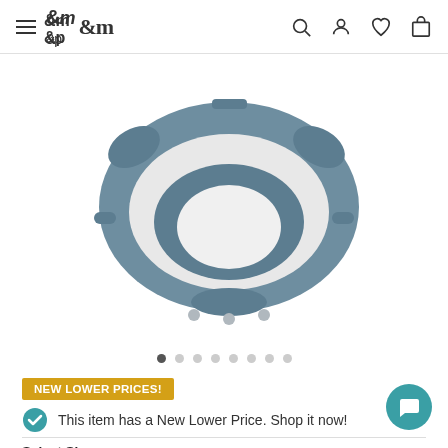m&p navigation header with hamburger menu, logo, search, account, wishlist, bag icons
[Figure (photo): Baby walker product photo showing a blue/grey and white baby walker seat/bouncer viewed from above at an angle, on a white background]
[Figure (other): Carousel navigation dots — 8 dots, first one filled/active, rest empty]
NEW LOWER PRICES!
This item has a New Lower Price. Shop it now!
Select Size: